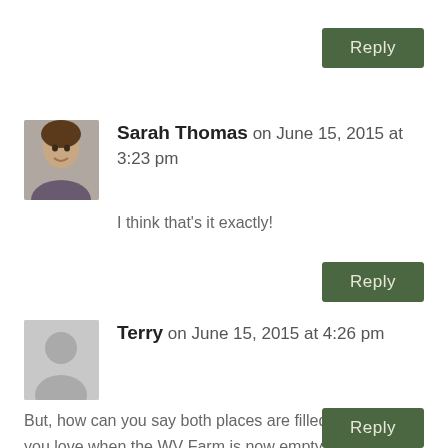Reply
Sarah Thomas on June 15, 2015 at 3:23 pm
[Figure (photo): Profile photo of Sarah Thomas, a woman smiling]
I think that's it exactly!
Reply
[Figure (illustration): Generic grey avatar silhouette for anonymous user Terry]
Terry on June 15, 2015 at 4:26 pm
But, how can you say both places are filled with people you love when the WV Farm is now empty. No family lives there, only your memories. You were visiting a place, not people who live there. People make a home, not things.
Reply